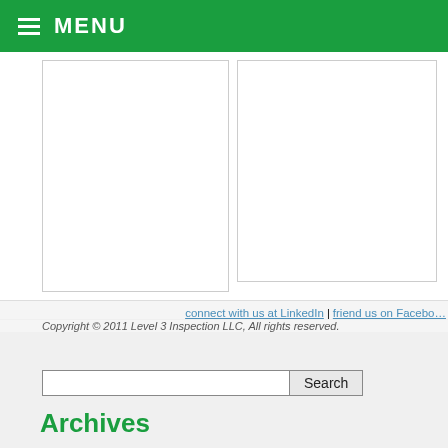MENU
[Figure (photo): Two image placeholders side by side showing content area]
connect with us at LinkedIn | friend us on Facebook
Copyright © 2011 Level 3 Inspection LLC, All rights reserved.
Search
Archives
November 2018
October 2018
June 2018
May 2018
March 2018